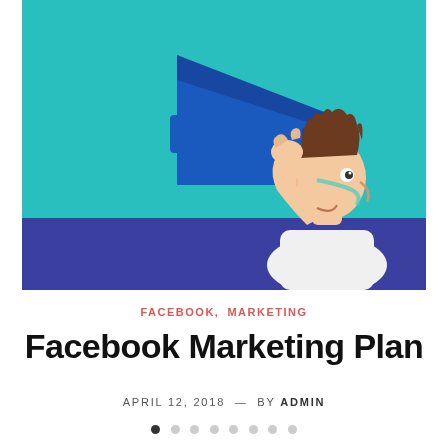[Figure (illustration): Cartoon illustration of a man holding and speaking into a large blue megaphone, with a teal/cyan background on top and a dark navy blue band at the bottom.]
FACEBOOK,  MARKETING
Facebook Marketing Plan
APRIL 12, 2018  —  BY ADMIN